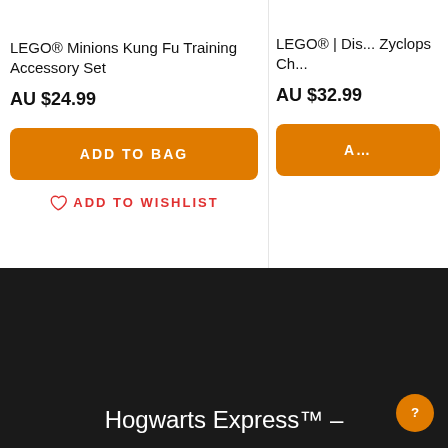LEGO® Minions Kung Fu Training Accessory Set
AU $24.99
ADD TO BAG
ADD TO WISHLIST
LEGO® | Dis... Zyclops Ch...
AU $32.99
Hogwarts Express™ –